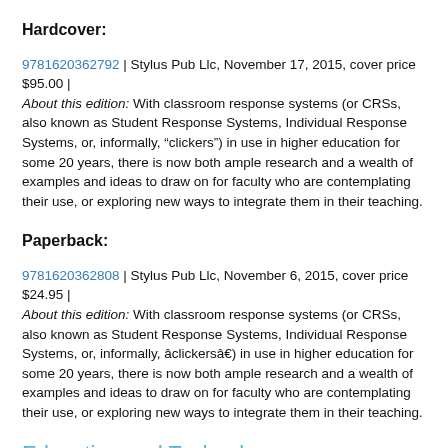Hardcover:
9781620362792 | Stylus Pub Llc, November 17, 2015, cover price $95.00 | About this edition: With classroom response systems (or CRSs, also known as Student Response Systems, Individual Response Systems, or, informally, “clickers”) in use in higher education for some 20 years, there is now both ample research and a wealth of examples and ideas to draw on for faculty who are contemplating their use, or exploring new ways to integrate them in their teaching.
Paperback:
9781620362808 | Stylus Pub Llc, November 6, 2015, cover price $24.95 | About this edition: With classroom response systems (or CRSs, also known as Student Response Systems, Individual Response Systems, or, informally, âclickersâ) in use in higher education for some 20 years, there is now both ample research and a wealth of examples and ideas to draw on for faculty who are contemplating their use, or exploring new ways to integrate them in their teaching.
Education and Technology
Product Description: The widespread academic study of educational technology blossomed in the
[Figure (photo): Small blue book cover thumbnail for Education and Technology]